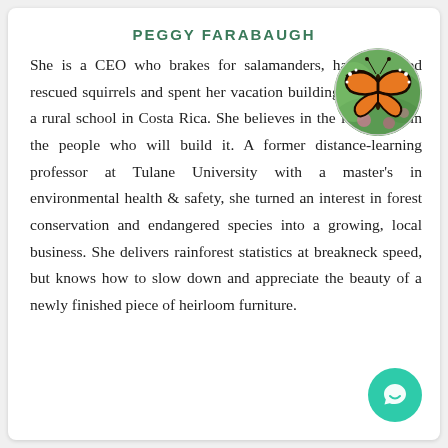PEGGY FARABAUGH
[Figure (photo): Circular photo of a monarch butterfly with orange and black wings on flowers]
She is a CEO who brakes for salamanders, has bottle-fed rescued squirrels and spent her vacation building furniture for a rural school in Costa Rica. She believes in the future and in the people who will build it. A former distance-learning professor at Tulane University with a master's in environmental health & safety, she turned an interest in forest conservation and endangered species into a growing, local business. She delivers rainforest statistics at breakneck speed, but knows how to slow down and appreciate the beauty of a newly finished piece of heirloom furniture.